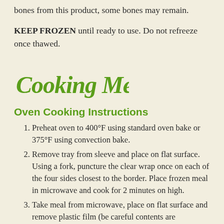bones from this product, some bones may remain.
KEEP FROZEN until ready to use. Do not refreeze once thawed.
[Figure (illustration): Decorative script text reading 'Cooking Methods' in green cursive font]
Oven Cooking Instructions
Preheat oven to 400°F using standard oven bake or 375°F using convection bake.
Remove tray from sleeve and place on flat surface. Using a fork, puncture the clear wrap once on each of the four sides closest to the border. Place frozen meal in microwave and cook for 2 minutes on high.
Take meal from microwave, place on flat surface and remove plastic film (be careful contents are